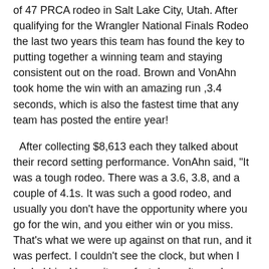of 47 PRCA rodeo in Salt Lake City, Utah. After qualifying for the Wrangler National Finals Rodeo the last two years this team has found the key to putting together a winning team and staying consistent out on the road.  Brown and VonAhn took home the win with an amazing run ,3.4 seconds, which is also the fastest time that any team has posted the entire year!
After collecting $8,613 each they talked about their record setting performance.  VonAhn said,   "It was a tough rodeo. There was a 3.6, 3.8, and a couple of 4.1s. It was such a good rodeo, and usually you don't have the opportunity where you go for the win, and you either win or you miss. That's what we were up against on that run, and it was perfect. I couldn't see the clock, but when I heeled him I knew it was fast. I wasn't sure how fast just because it's not like I have been 3.4 (seconds) a number of times. When I looked up and saw Luke and he was